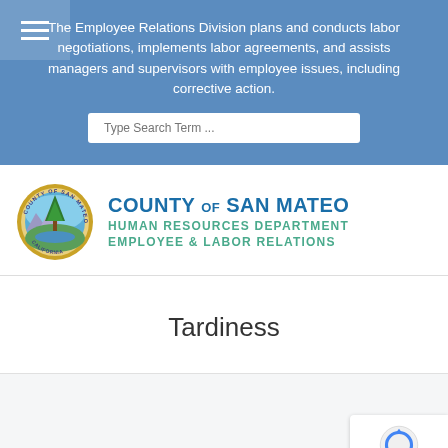The Employee Relations Division plans and conducts labor negotiations, implements labor agreements, and assists managers and supervisors with employee issues, including corrective action.
[Figure (logo): County of San Mateo Human Resources Department Employee & Labor Relations logo with circular seal]
Tardiness
[Figure (other): reCAPTCHA badge with Privacy - Terms]